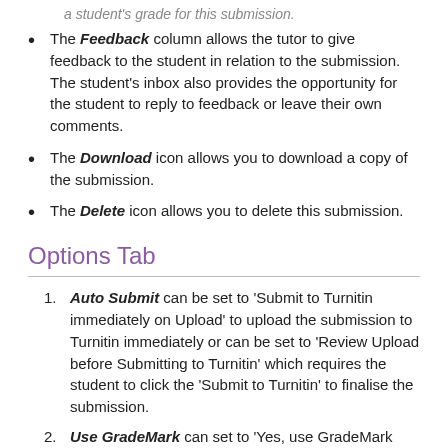The Feedback column allows the tutor to give feedback to the student in relation to the submission. The student's inbox also provides the opportunity for the student to reply to feedback or leave their own comments.
The Download icon allows you to download a copy of the submission.
The Delete icon allows you to delete this submission.
Options Tab
Auto Submit can be set to 'Submit to Turnitin immediately on Upload' to upload the submission to Turnitin immediately or can be set to 'Review Upload before Submitting to Turnitin' which requires the student to click the 'Submit to Turnitin' to finalise the submission.
Use GradeMark can set to 'Yes, use GradeMark